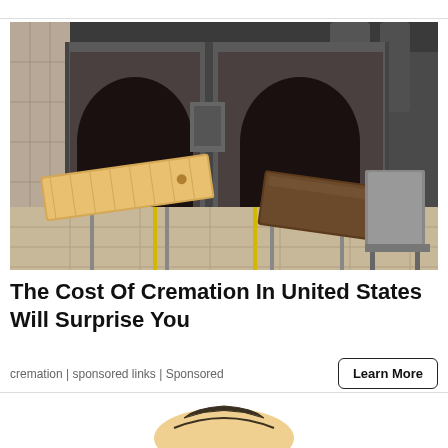[Figure (photo): Interior of a crematorium showing two coffins on tracks leading into large furnace openings with arched entrances. Left coffin is light-colored pine wood, right is dark brown wood. Industrial setting with tiled floor, yellow safety lines, and stainless steel equipment.]
The Cost Of Cremation In United States Will Surprise You
cremation | sponsored links | Sponsored
[Figure (illustration): Partial illustration visible at bottom of page, appears to show a cartoon or illustrated figure, partially cropped.]